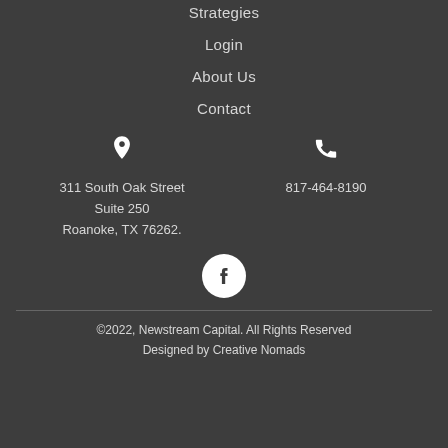Strategies
Login
About Us
Contact
311 South Oak Street
Suite 250
Roanoke, TX 76262.
817-464-8190
[Figure (logo): Facebook social media icon - circular white icon on grey background]
©2022, Newstream Capital. All Rights Reserved
Designed by Creative Nomads